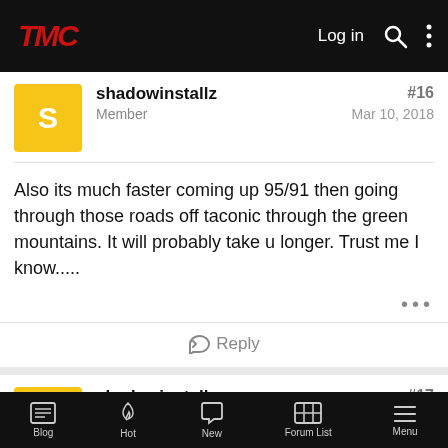[Figure (screenshot): TMC forum mobile app top navigation bar with logo, Log in, search, and more options]
shadowinstallz
Member
#16
Mar 10, 2018
Also its much faster coming up 95/91 then going through those roads off taconic through the green mountains. It will probably take u longer. Trust me I know.....
Reply
shadowinstallz
Member
#17
Mar 11, 2018
[Figure (screenshot): TMC forum mobile bottom navigation bar with Blog, Hot, New, Forum List, Menu icons]